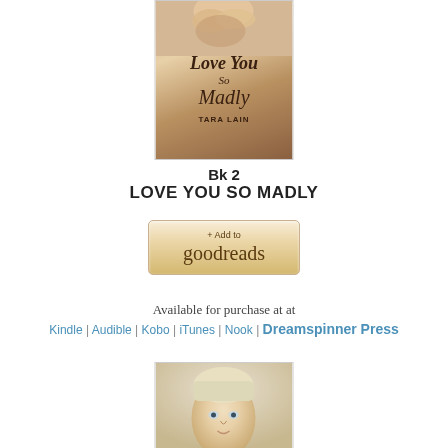[Figure (photo): Book cover for 'Love You So Madly' by Tara Lain showing a person with hands clasped, warm golden-brown tones]
Bk 2
LOVE YOU SO MADLY
[Figure (other): Goodreads Add to button - '+ Add to goodreads' button with tan/gold gradient background]
Available for purchase at at
Kindle | Audible | Kobo | iTunes | Nook | Dreamspinner Press
[Figure (photo): Photo of a young person with short blonde hair, close-up portrait]